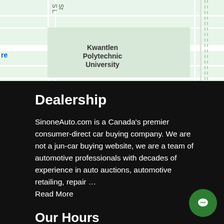[Figure (map): Street map showing Kwantlen Polytechnic University area with roads and city boundary markers]
Dealership
SinoneAuto.com is a Canada's premier consumer-direct car buying company. We are not a jun-car buying website, we are a team of automotive professionals with decades of experience in auto auctions, automotive retailing, repair ... Read More
Our Hours
Monday    10:00 AM - 6:00 PM
Tuesday    10:00 AM - 6:00 PM
Wednesday    10:00 AM - 6:00 PM
Thursday    10:00 AM - 6:00 PM